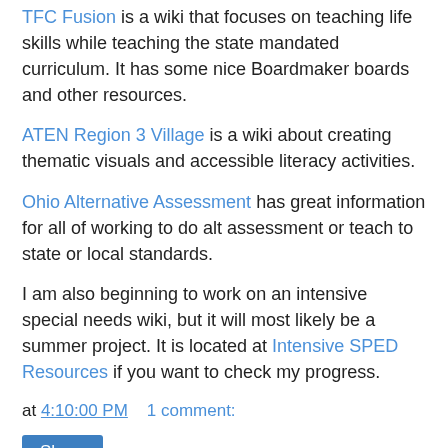TFC Fusion is a wiki that focuses on teaching life skills while teaching the state mandated curriculum. It has some nice Boardmaker boards and other resources.
ATEN Region 3 Village is a wiki about creating thematic visuals and accessible literacy activities.
Ohio Alternative Assessment has great information for all of working to do alt assessment or teach to state or local standards.
I am also beginning to work on an intensive special needs wiki, but it will most likely be a summer project. It is located at Intensive SPED Resources if you want to check my progress.
at 4:10:00 PM    1 comment:
Share
Monday, March 3, 2008
My Voice is My Power: Part Three